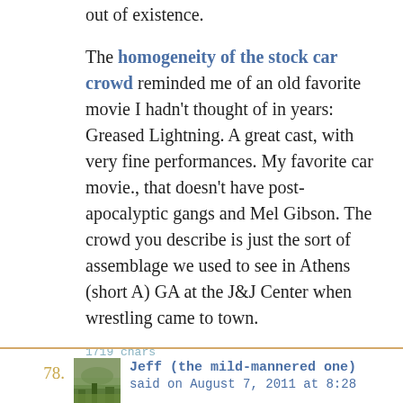out of existence.
The homogeneity of the stock car crowd reminded me of an old favorite movie I hadn't thought of in years: Greased Lightning. A great cast, with very fine performances. My favorite car movie., that doesn't have post-apocalyptic gangs and Mel Gibson. The crowd you describe is just the sort of assemblage we used to see in Athens (short A) GA at the J&J Center when wrestling came to town.
1719 chars
78.
Jeff (the mild-mannered one) said on August 7, 2011 at 8:28